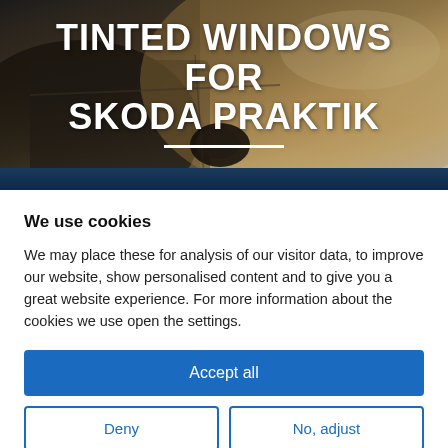[Figure (photo): Hero image showing close-up of car door and windows with dramatic sky and warm lighting, with dark blue bar at the bottom]
TINTED WINDOWS FOR SKODA PRAKTIK
We use cookies
We may place these for analysis of our visitor data, to improve our website, show personalised content and to give you a great website experience. For more information about the cookies we use open the settings.
Accept all
Deny
No, adjust